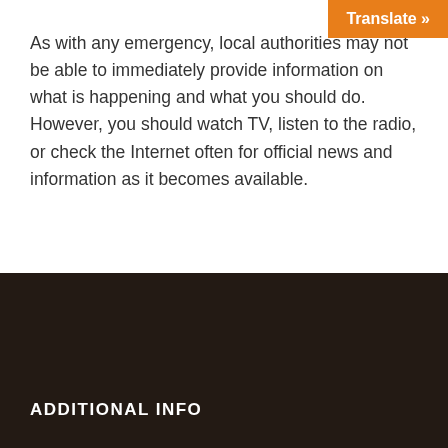As with any emergency, local authorities may not be able to immediately provide information on what is happening and what you should do. However, you should watch TV, listen to the radio, or check the Internet often for official news and information as it becomes available.
Information courtesy of ReadyAmerica.
ADDITIONAL INFO